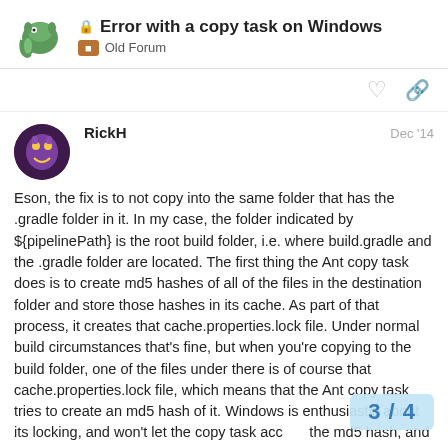Error with a copy task on Windows — Old Forum
RickH   Dec '14
Eson, the fix is to not copy into the same folder that has the .gradle folder in it. In my case, the folder indicated by ${pipelinePath} is the root build folder, i.e. where build.gradle and the .gradle folder are located. The first thing the Ant copy task does is to create md5 hashes of all of the files in the destination folder and store those hashes in its cache. As part of that process, it creates that cache.properties.lock file. Under normal build circumstances that's fine, but when you're copying to the build folder, one of the files under there is of course that cache.properties.lock file, which means that the Ant copy task tries to create an md5 hash of it. Windows is enthusiastic about its locking, and won't let the copy task access the md5 hash, and that's where the error comes from.
3 / 4